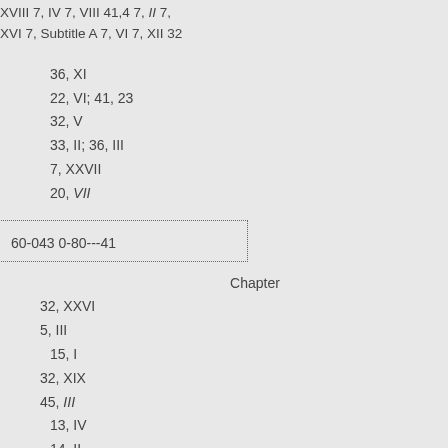XVIII 7, IV 7, VIII 41,4 7, II 7, XVI 7, Subtitle A 7, VI 7, XII 32
36, XI
22, VI; 41, 23
32, V
33, II; 36, III
7, XXVII
20, VII
60-043 0-80---41
Chapter
32, XXVI
5, III
15, I
32, XIX
45, III
13, IV
14, II
45, VII
4, II